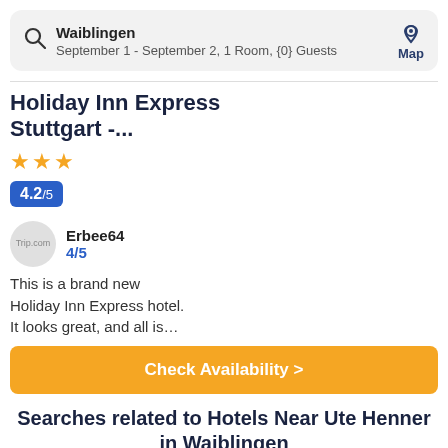Waiblingen — September 1 - September 2, 1 Room, {0} Guests
Holiday Inn Express Stuttgart -...
★★★
4.2/5
Erbee64 4/5
This is a brand new Holiday Inn Express hotel. It looks great, and all is…
Check Availability >
Searches related to Hotels Near Ute Henner in Waiblingen
Launceston Central Ap   Hotels in Misterton